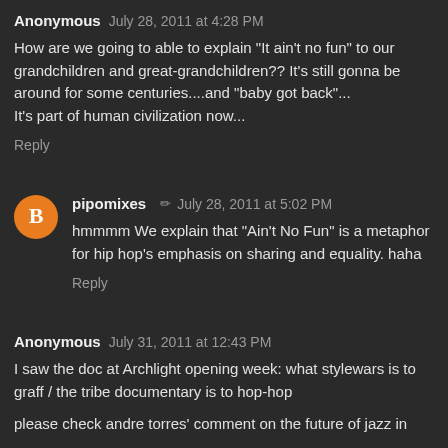Anonymous  July 28, 2011 at 4:28 PM
How are we going to able to explain "It ain't no fun" to our grandchildren and great-grandchildren?? It's still gonna be around for some centuries....and "baby got back"...
It's part of human civilization now...
Reply
pipomixes  ✏  July 28, 2011 at 5:02 PM
hmmmm We explain that "Ain't No Fun" is a metaphor for hip hop's emphasis on sharing and equality. haha
Reply
Anonymous  July 31, 2011 at 12:43 PM
I saw the doc at Archlight opening week: what stylewars is to graff / the tribe documentary is to hop-hop
please check andre torres' comment on the future of jazz in